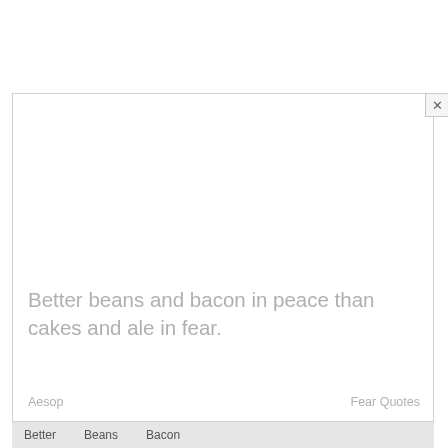[Figure (screenshot): Modal dialog box with a close (X) button in the top-right corner, containing a quote and attribution, with a tag bar at the bottom]
Better beans and bacon in peace than cakes and ale in fear.
Aesop
Fear Quotes
Better   Beans   Bacon